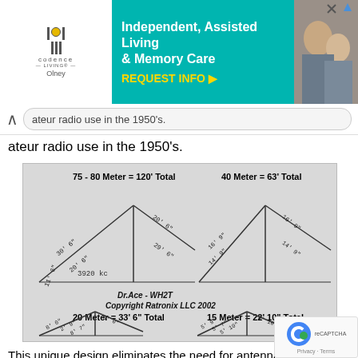[Figure (other): Advertisement banner for Codence Living - Independent, Assisted Living & Memory Care, Olney. REQUEST INFO button. Shows logo and photo of elderly people.]
ateur radio use in the 1950's.
[Figure (engineering-diagram): Four antenna wire diagrams showing inverted-V antenna dimensions for different amateur radio bands: 75-80 Meter = 120' Total, 40 Meter = 63' Total, 20 Meter = 33' 6" Total, 15 Meter = 22' 10" Total. Each shows a triangular inverted-V shape with labeled dimensions. Copyright Dr.Ace - WH2T, Copyright Ratronix LLC 2002.]
This unique design eliminates the need for antenna matching baluns and can be fed directly with 50 Ohm coax.